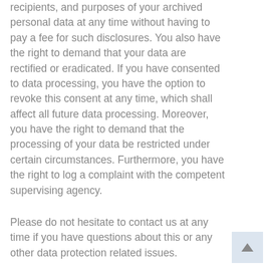recipients, and purposes of your archived personal data at any time without having to pay a fee for such disclosures. You also have the right to demand that your data are rectified or eradicated. If you have consented to data processing, you have the option to revoke this consent at any time, which shall affect all future data processing. Moreover, you have the right to demand that the processing of your data be restricted under certain circumstances. Furthermore, you have the right to log a complaint with the competent supervising agency.
Please do not hesitate to contact us at any time if you have questions about this or any other data protection related issues.